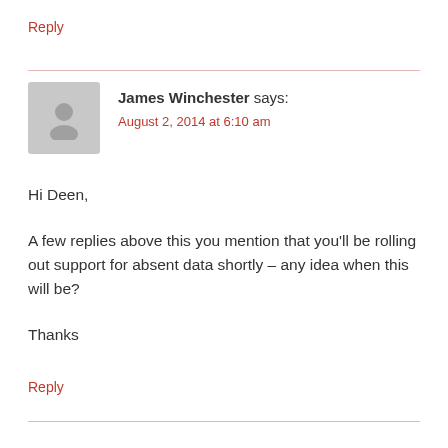Reply
[Figure (illustration): Gray placeholder avatar icon showing a generic person silhouette]
James Winchester says:
August 2, 2014 at 6:10 am
Hi Deen,
A few replies above this you mention that you'll be rolling out support for absent data shortly – any idea when this will be?
Thanks
Reply